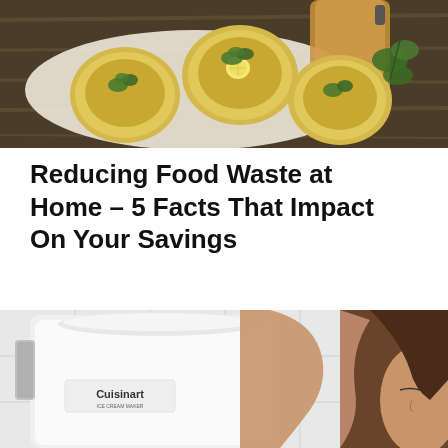[Figure (photo): Top-down view of three round golden flatbreads/focaccias garnished with herbs and lemon slices, placed on parchment paper on a dark wooden board, alongside fresh basil and a wooden cutting board]
Reducing Food Waste at Home – 5 Facts That Impact On Your Savings
[Figure (photo): A woman leaning over a white Cuisinart appliance (ice cream maker), appearing to smell or inspect it, in a white kitchen setting]